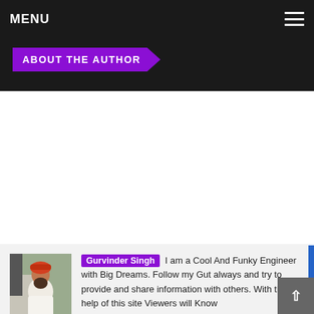MENU
ABOUT THE AUTHOR
[Figure (photo): Portrait photo of Gurvinder Singh, a man wearing a white shirt, standing outdoors.]
Gurvinder Singh I am a Cool And Funky Engineer with Big Dreams. Follow my Gut always and try to provide and share information with others. With the help of this site Viewers will Know